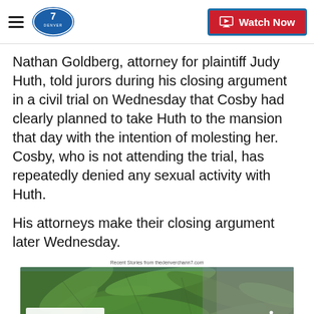Denver7 - Watch Now
Nathan Goldberg, attorney for plaintiff Judy Huth, told jurors during his closing argument in a civil trial on Wednesday that Cosby had clearly planned to take Huth to the mansion that day with the intention of molesting her. Cosby, who is not attending the trial, has repeatedly denied any sexual activity with Huth.
His attorneys make their closing argument later Wednesday.
Recent Stories from thedenverchann7.com
[Figure (photo): Video thumbnail showing cannabis/marijuana plant leaves with a 'Top Videos' label overlay in the lower left area]